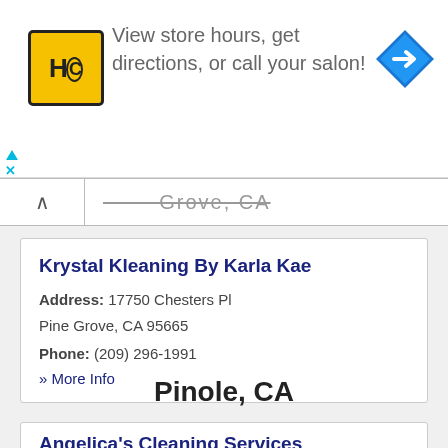[Figure (screenshot): Advertisement banner with HC logo (yellow square with black HC letters) and text 'View store hours, get directions, or call your salon!' with a blue diamond arrow icon on the right. Ad markers (triangle and X) on the left.]
Pine Grove, CA (partially visible, strikethrough/blurred header)
Krystal Kleaning By Karla Kae
Address: 17750 Chesters Pl
Pine Grove, CA 95665
Phone: (209) 296-1991
» More Info
Pinole, CA
Angelica's Cleaning Services